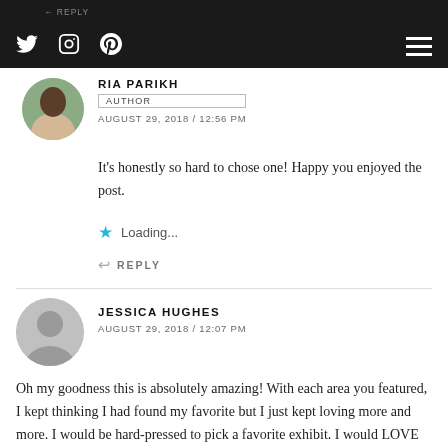REPLY | Twitter | Instagram | Pinterest | Menu
RIA PARIKH
AUTHOR
AUGUST 29, 2018 / 12:56 PM
It’s honestly so hard to chose one! Happy you enjoyed the post.
Loading...
REPLY
JESSICA HUGHES
AUGUST 29, 2018 / 12:07 PM
Oh my goodness this is absolutely amazing! With each area you featured, I kept thinking I had found my favorite but I just kept loving more and more. I would be hard-pressed to pick a favorite exhibit. I would LOVE to experience this!